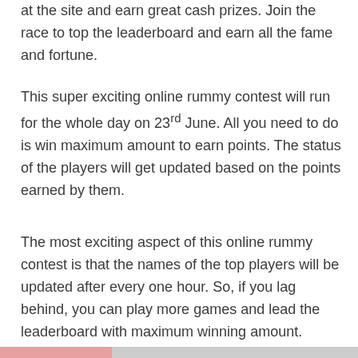at the site and earn great cash prizes. Join the race to top the leaderboard and earn all the fame and fortune.
This super exciting online rummy contest will run for the whole day on 23rd June. All you need to do is win maximum amount to earn points. The status of the players will get updated based on the points earned by them.
The most exciting aspect of this online rummy contest is that the names of the top players will be updated after every one hour. So, if you lag behind, you can play more games and lead the leaderboard with maximum winning amount.